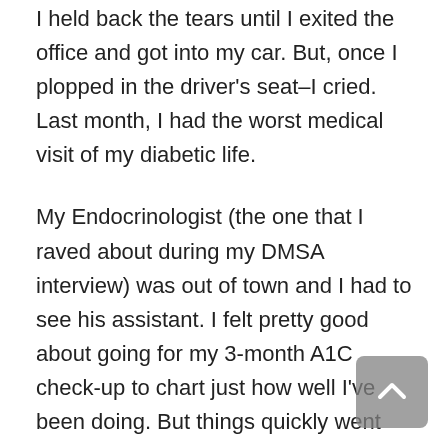I held back the tears until I exited the office and got into my car. But, once I plopped in the driver's seat–I cried. Last month, I had the worst medical visit of my diabetic life.
My Endocrinologist (the one that I raved about during my DMSA interview) was out of town and I had to see his assistant. I felt pretty good about going for my 3-month A1C check-up to chart just how well I've been doing. But things quickly went sour.
When the PA walked into the room she shook my hand and said, "Hello I'm Dr. ____'s PA. My name is Ms. ____. I don't think we've met before."  I replied, "No we haven't. I'm–" Before I could get my name out she had